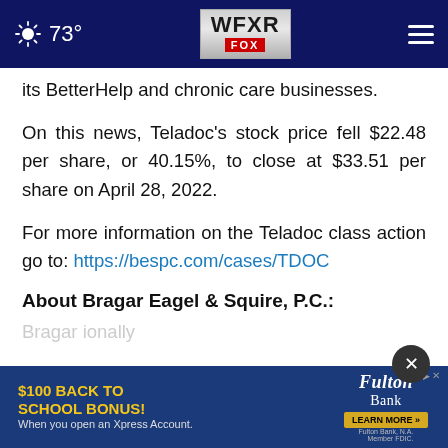73° WFXR FOX
its BetterHelp and chronic care businesses.
On this news, Teladoc's stock price fell $22.48 per share, or 40.15%, to close at $33.51 per share on April 28, 2022.
For more information on the Teladoc class action go to: https://bespc.com/cases/TDOC
About Bragar Eagel & Squire, P.C.:
Bragar nationally